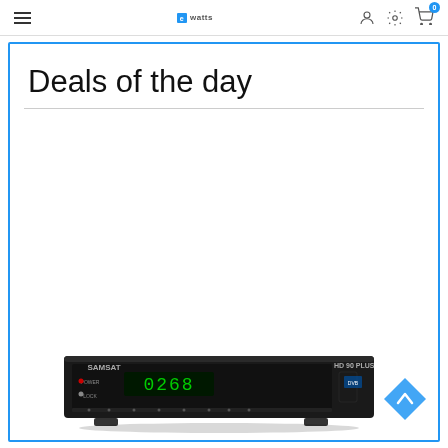Navigation bar with hamburger menu, logo, user icon, settings icon, cart icon with badge 0
Deals of the day
[Figure (photo): SAMSAT HD 90 PLUS satellite receiver/set-top box, black, with green LED display showing 0268, front panel with buttons: POWER, LOCK, and navigation buttons]